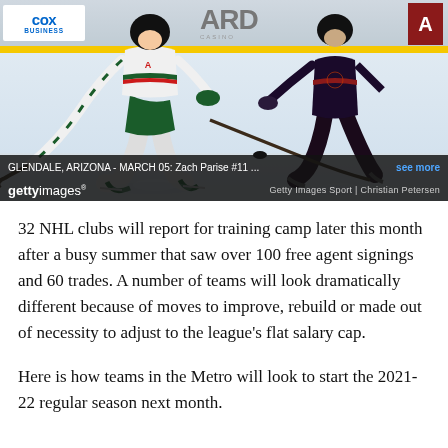[Figure (photo): Hockey players on ice — Minnesota Wild player (Zach Parise #11) in white and green uniform skating with puck, Arizona Coyotes player in dark uniform defending. Arena background with COX BUSINESS signage and yellow rink boards visible. Getty Images watermark.]
GLENDALE, ARIZONA - MARCH 05: Zach Parise #11 ... see more
gettyimages®   Getty Images Sport | Christian Petersen
32 NHL clubs will report for training camp later this month after a busy summer that saw over 100 free agent signings and 60 trades. A number of teams will look dramatically different because of moves to improve, rebuild or made out of necessity to adjust to the league's flat salary cap.
Here is how teams in the Metro will look to start the 2021-22 regular season next month.